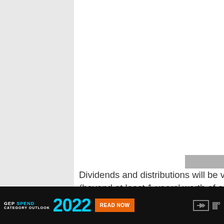[Figure (other): White content area with three loading dots in the center, representing an ad or media placeholder]
Dividends and distributions will be very helpful for me in semi-retirement (beyond at least 1-years' worth of cash savings)
[Figure (other): Bottom advertisement bar: GEP SPEND CATEGORY OUTLOOK 2022 with READ NOW button and website logo]